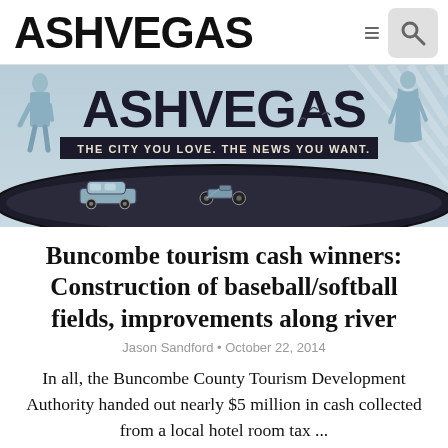ASHVEGAS
[Figure (illustration): Ashvegas website banner logo illustration showing retro art deco style with 'ASHVEGAS' text, tagline 'THE CITY YOU LOVE. THE NEWS YOU WANT.', vintage car, motorcycle, and stylized figures]
Buncombe tourism cash winners: Construction of baseball/softball fields, improvements along river
Jason Sandford • October 22, 2014
In all, the Buncombe County Tourism Development Authority handed out nearly $5 million in cash collected from a local hotel room tax ...